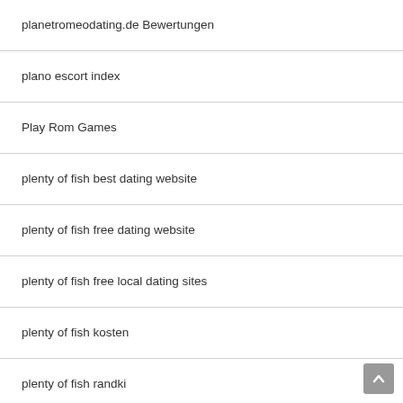planetromeodating.de Bewertungen
plano escort index
Play Rom Games
plenty of fish best dating website
plenty of fish free dating website
plenty of fish free local dating sites
plenty of fish kosten
plenty of fish randki
plenty of fish reviews
PM
pof Anmeldung
polish hearts Accedere